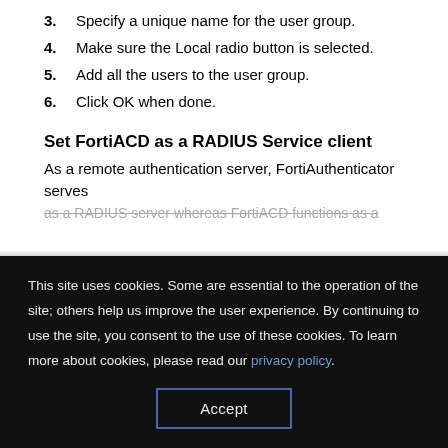3. Specify a unique name for the user group.
4. Make sure the Local radio button is selected.
5. Add all the users to the user group.
6. Click OK when done.
Set FortiACD as a RADIUS Service client
As a remote authentication server, FortiAuthenticator serves as a RADIUS server whereas FortiACD functions as a
This site uses cookies. Some are essential to the operation of the site; others help us improve the user experience. By continuing to use the site, you consent to the use of these cookies. To learn more about cookies, please read our privacy policy.
Accept